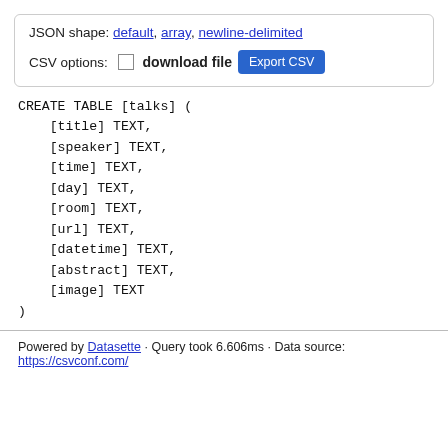JSON shape: default, array, newline-delimited
CSV options:  download file  Export CSV
CREATE TABLE [talks] (
    [title] TEXT,
    [speaker] TEXT,
    [time] TEXT,
    [day] TEXT,
    [room] TEXT,
    [url] TEXT,
    [datetime] TEXT,
    [abstract] TEXT,
    [image] TEXT
)
Powered by Datasette · Query took 6.606ms · Data source: https://csvconf.com/